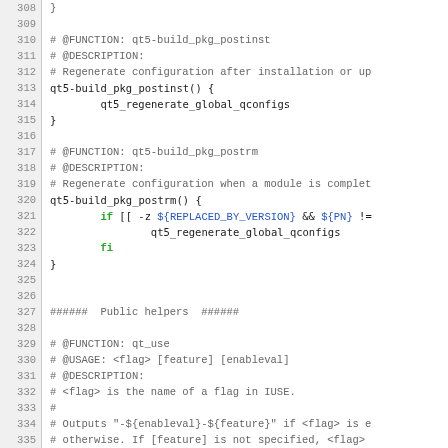Source code listing lines 308–337, shell script with functions qt5-build_pkg_postinst, qt5-build_pkg_postrm, and qt_use with comments and syntax highlighting